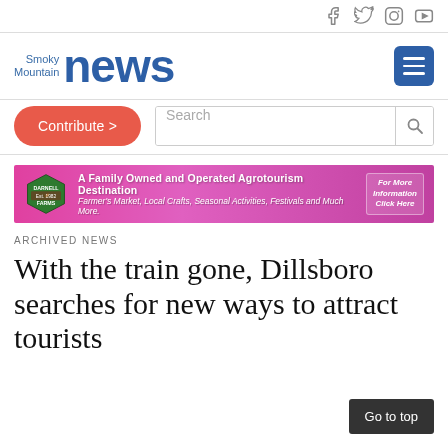Smoky Mountain News — social icons: Facebook, Twitter, Instagram, YouTube
[Figure (logo): Smoky Mountain News logo with blue text]
Contribute > [button]  Search [field]
[Figure (illustration): Darnell Farms advertisement banner — A Family Owned and Operated Agrotourism Destination. Farmer's Market, Local Crafts, Seasonal Activities, Festivals and Much More. For More Information Click Here.]
ARCHIVED NEWS
With the train gone, Dillsboro searches for new ways to attract tourists